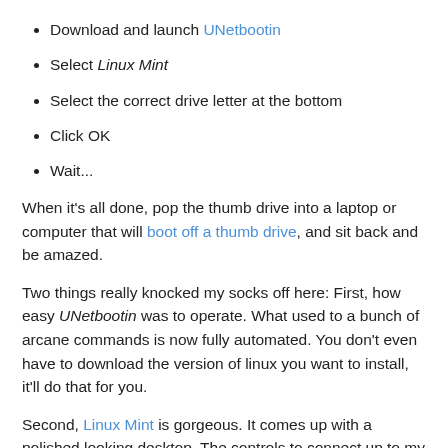Download and launch UNetbootin
Select Linux Mint
Select the correct drive letter at the bottom
Click OK
Wait...
When it's all done, pop the thumb drive into a laptop or computer that will boot off a thumb drive, and sit back and be amazed.
Two things really knocked my socks off here: First, how easy UNetbootin was to operate. What used to a bunch of arcane commands is now fully automated. You don't even have to download the version of linux you want to install, it'll do that for you.
Second, Linux Mint is gorgeous. It comes up with a polished looking desktop. The controls to connect up to my wireless network were exactly where Windows taught me they would be. Again, no arcane commands to run. Running Firefox just